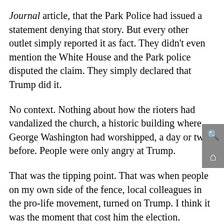Journal article, that the Park Police had issued a statement denying that story. But every other outlet simply reported it as fact. They didn't even mention the White House and the Park police disputed the claim. They simply declared that Trump did it.
No context. Nothing about how the rioters had vandalized the church, a historic building where George Washington had worshipped, a day or two before. People were only angry at Trump.
That was the tipping point. That was when people on my own side of the fence, local colleagues in the pro-life movement, turned on Trump. I think it was the moment that cost him the election.
And it was a lie. The Biden Administration later published the results of an investigation showing that what the media reported as fact was false. But the damage was done.